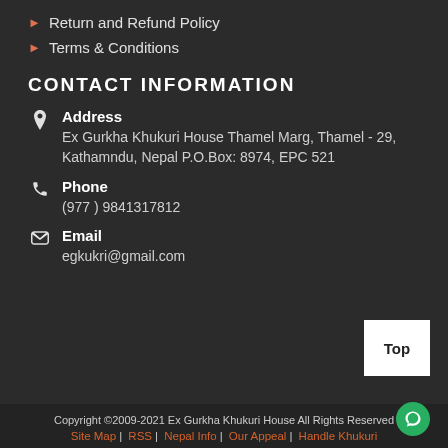Return and Refund Policy
Terms & Conditions
CONTACT INFORMATION
Address
Ex Gurkha Khukuri House Thamel Marg, Thamel - 29, Kathamndu, Nepal P.O.Box: 8974, EPC 521
Phone
(977 ) 9841317812
Email
egkukri@gmail.com
Top
Copyright ©2009-2021 Ex Gurkha Khukuri House All Rights Reserved
Site Map | RSS | Nepal Info | Our Appeal | Handle Khukuri